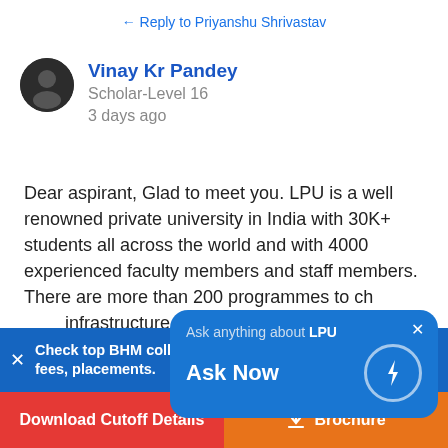← Reply to Priyanshu Shrivastav
Vinay Kr Pandey
Scholar-Level 16
3 days ago
Dear aspirant, Glad to meet you. LPU is a well renowned private university in India with 30K+ students all across the world and with 4000 experienced faculty members and staff members. There are more than 200 programmes to choose from with excellent infrastructure LPU has everything...more
[Figure (screenshot): Chat widget overlay: 'Ask anything about LPU — Ask Now' button on blue background with lightning bolt icon and close button]
Check top BHM colleges in your City by fees, placements.
Check Now
Download Cutoff Details
Brochure